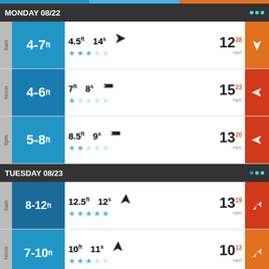MONDAY 08/22
| Time | Wave Height | Swell Height | Period | Direction | Wind Speed | Wind Direction |
| --- | --- | --- | --- | --- | --- | --- |
| 6am | 4-7ft | 4.5ft | 14s | ↙ | 12 28mph | ↓ |
| Noon | 4-6ft | 7ft | 8s | → | 15 23mph | → |
| 6pm | 5-8ft | 8.5ft | 9s | → | 13 20mph | → |
TUESDAY 08/23
| Time | Wave Height | Swell Height | Period | Direction | Wind Speed | Wind Direction |
| --- | --- | --- | --- | --- | --- | --- |
| 6am | 8-12ft | 12.5ft | 12s | ↙ | 13 19mph | ↗ |
| Noon | 7-10ft | 10ft | 11s | ↙ | 10 13mph | ↗ |
| 6pm | 6-9ft | 8ft | 11s | ↙ | 8 12mph | ↗ |
WEDNESDAY 08/24
| Time | Wave Height | Swell Height | Period | Direction | Wind Speed | Wind Direction |
| --- | --- | --- | --- | --- | --- | --- |
| 6am | 4-6ft | 5.5ft | 10s | ↙ | 6 8mph | ↘ |